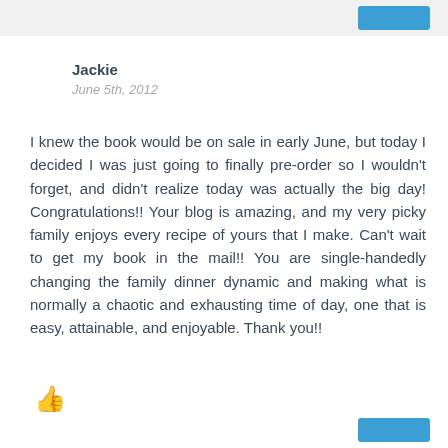Jackie
June 5th, 2012
I knew the book would be on sale in early June, but today I decided I was just going to finally pre-order so I wouldn't forget, and didn't realize today was actually the big day! Congratulations!! Your blog is amazing, and my very picky family enjoys every recipe of yours that I make. Can't wait to get my book in the mail!! You are single-handedly changing the family dinner dynamic and making what is normally a chaotic and exhausting time of day, one that is easy, attainable, and enjoyable. Thank you!!
[Figure (other): Thumbs up icon]